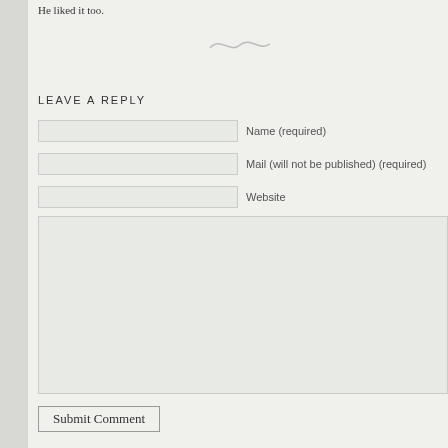He liked it too.
[Figure (illustration): Decorative swirl/flourish divider]
LEAVE A REPLY
Name (required)
Mail (will not be published) (required)
Website
Submit Comment